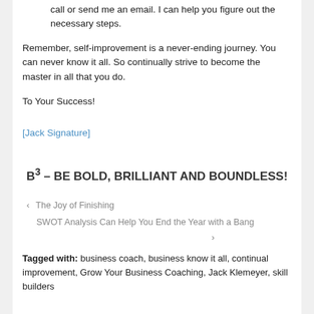call or send me an email. I can help you figure out the necessary steps.
Remember, self-improvement is a never-ending journey. You can never know it all. So continually strive to become the master in all that you do.
To Your Success!
[Figure (other): Jack Signature image link]
B³ – BE BOLD, BRILLIANT AND BOUNDLESS!
« The Joy of Finishing
SWOT Analysis Can Help You End the Year with a Bang »
Tagged with: business coach, business know it all, continual improvement, Grow Your Business Coaching, Jack Klemeyer, skill builders